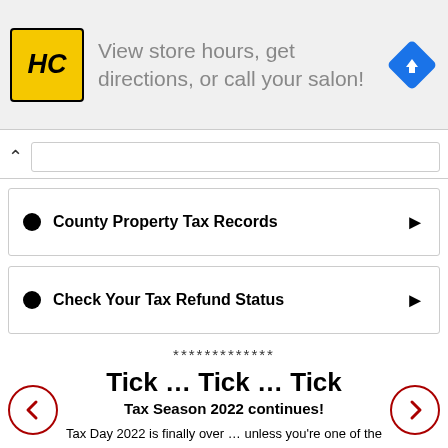[Figure (other): Advertisement banner for HC (Hair Club or similar) salon. Yellow logo with HC text on left, text 'View store hours, get directions, or call your salon!' in gray, blue directions icon on right.]
County Property Tax Records
Check Your Tax Refund Status
*************
Tick … Tick … Tick
Tax Season 2022 continues!
Tax Day 2022 is finally over … unless you're one of the